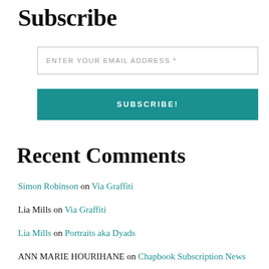Subscribe
ENTER YOUR EMAIL ADDRESS *
SUBSCRIBE!
Recent Comments
Simon Robinson on Via Graffiti
Lia Mills on Via Graffiti
Lia Mills on Portraits aka Dyads
ANN MARIE HOURIHANE on Chapbook Subscription News